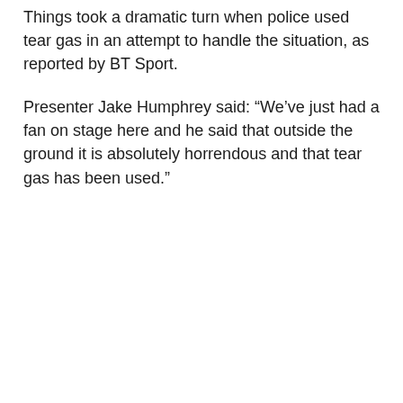Things took a dramatic turn when police used tear gas in an attempt to handle the situation, as reported by BT Sport.
Presenter Jake Humphrey said: “We’ve just had a fan on stage here and he said that outside the ground it is absolutely horrendous and that tear gas has been used.”